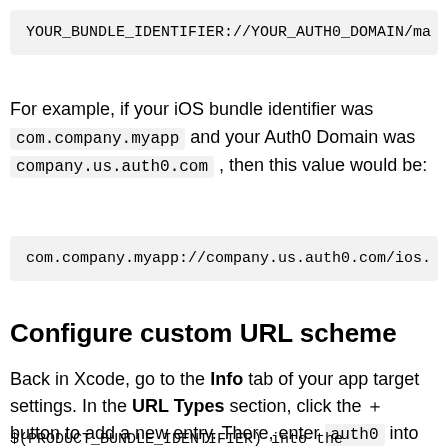YOUR_BUNDLE_IDENTIFIER://YOUR_AUTH0_DOMAIN/ma
For example, if your iOS bundle identifier was com.company.myapp and your Auth0 Domain was company.us.auth0.com , then this value would be:
com.company.myapp://company.us.auth0.com/ios.
Configure custom URL scheme
Back in Xcode, go to the Info tab of your app target settings. In the URL Types section, click the + button to add a new entry. There, enter auth0 into the Identifier field and
$(PRODUCT_BUNDLE_IDENTIFIER) into the